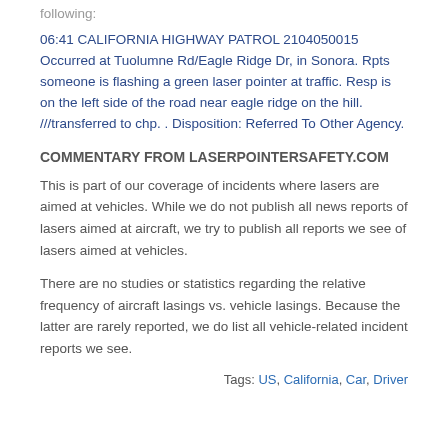following:
06:41 CALIFORNIA HIGHWAY PATROL 2104050015 Occurred at Tuolumne Rd/Eagle Ridge Dr, in Sonora. Rpts someone is flashing a green laser pointer at traffic. Resp is on the left side of the road near eagle ridge on the hill. ///transferred to chp. . Disposition: Referred To Other Agency.
COMMENTARY FROM LASERPOINTERSAFETY.COM
This is part of our coverage of incidents where lasers are aimed at vehicles. While we do not publish all news reports of lasers aimed at aircraft, we try to publish all reports we see of lasers aimed at vehicles.
There are no studies or statistics regarding the relative frequency of aircraft lasings vs. vehicle lasings. Because the latter are rarely reported, we do list all vehicle-related incident reports we see.
Tags: US, California, Car, Driver